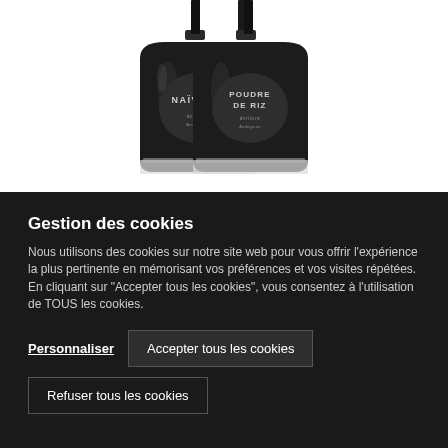[Figure (photo): Two black square perfume bottles with black caps on white background. Left bottle labeled 'NAÏVIRIS' with small brand text below. Right bottle labeled 'POUDRE DE RIZ' with small brand text below.]
Gestion des cookies
Nous utilisons des cookies sur notre site web pour vous offrir l'expérience la plus pertinente en mémorisant vos préférences et vos visites répétées. En cliquant sur "Accepter tous les cookies", vous consentez à l'utilisation de TOUS les cookies.
Personnaliser
Accepter tous les cookies
Refuser tous les cookies